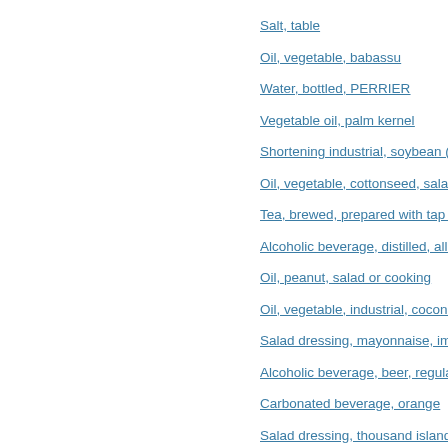Salt, table
Oil, vegetable, babassu
Water, bottled, PERRIER
Vegetable oil, palm kernel
Shortening industrial, soybean (hydrogenated) and cottonseed
Oil, vegetable, cottonseed, salad or cooking
Tea, brewed, prepared with tap water
Alcoholic beverage, distilled, all (gin, rum, vodka, whiskey) 100
Oil, peanut, salad or cooking
Oil, vegetable, industrial, coconut, confection fat, typical basis fo
Salad dressing, mayonnaise, imitation, soybean
Alcoholic beverage, beer, regular, all
Carbonated beverage, orange
Salad dressing, thousand island, commercial, regular
Alcoholic beverage, distilled, all (gin, rum, vodka, whiskey) 86 p
Oil, vegetable, grapeseed
Tea, brewed, prepared with tap water, decaffeinated